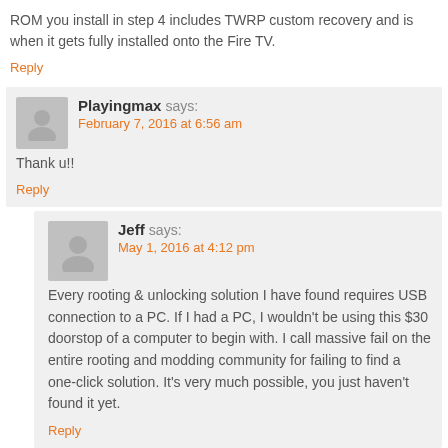ROM you install in step 4 includes TWRP custom recovery and is when it gets fully installed onto the Fire TV.
Reply
Playingmax says: February 7, 2016 at 6:56 am
Thank u!!
Reply
Jeff says: May 1, 2016 at 4:12 pm
Every rooting & unlocking solution I have found requires USB connection to a PC. If I had a PC, I wouldn't be using this $30 doorstop of a computer to begin with. I call massive fail on the entire rooting and modding community for failing to find a one-click solution. It's very much possible, you just haven't found it yet.
Reply